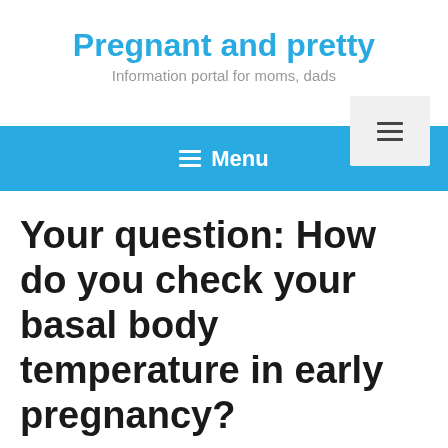Pregnant and pretty
Information portal for moms, dads
Your question: How do you check your basal body temperature in early pregnancy?